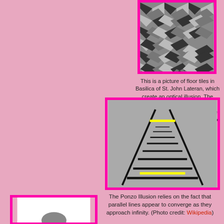[Figure (photo): Floor tiles in Basilica of St. John Lateran creating a 3D optical illusion, black, white, and grey geometric diamond/cube pattern]
This is a picture of floor tiles in Basilica of St. John Lateran, which create an optical illusion. The picture was taken by Tino Warinowski (User:Chino) in June 2006 and is hereby released to the public domain. (Photo credit: Wikipedia)
[Figure (illustration): Ponzo Illusion diagram: railway tracks converging to a vanishing point on grey background, with two yellow horizontal lines of equal length — one near top appearing longer, one near bottom appearing shorter]
The Ponzo Illusion relies on the fact that parallel lines appear to converge as they approach infinity. (Photo credit: Wikipedia)
[Figure (photo): Partial view of a third optical illusion image at bottom of page, partially cut off]